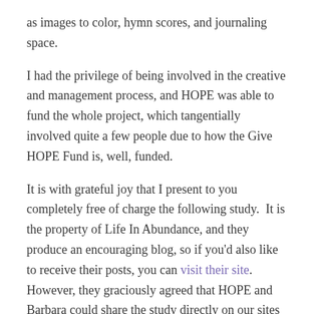as images to color, hymn scores, and journaling space.
I had the privilege of being involved in the creative and management process, and HOPE was able to fund the whole project, which tangentially involved quite a few people due to how the Give HOPE Fund is, well, funded.
It is with grateful joy that I present to you completely free of charge the following study.  It is the property of Life In Abundance, and they produce an encouraging blog, so if you'd also like to receive their posts, you can visit their site. However, they graciously agreed that HOPE and Barbara could share the study directly on our sites as well.
This study is based on the Psalm, not any particular church, denomination, etc. We hope it will be an encouraging exercise to many who feel overwhelmed, or even just unsettled, by anything. I'd love to hear how it impacts you. Contact me to let